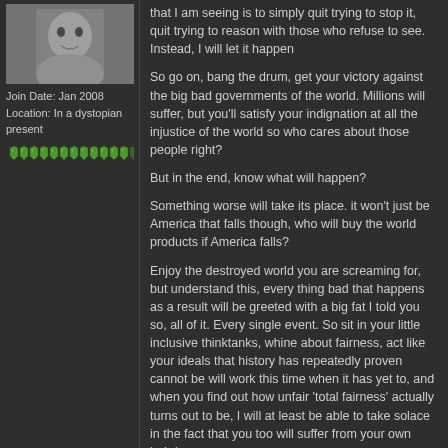[Figure (photo): Avatar image of a user, appears to be an anime or illustrated character in grayscale]
Join Date: Jan 2008
Location: In a dystopian present
[Figure (illustration): Row of green gem/crystal icons representing user reputation or awards]
that I am seeing is to simply quit trying to stop it, quit trying to reason with those who refuse to see. Instead, I will let it happen

So go on, bang the drum, get your victory against the big bad governments of the world. Millions will suffer, but you'll satisfy your indignation at all the injustice of the world so who cares about those people right?

But in the end, know what will happen?

Something worse will take its place. it won't just be America that falls though, who will buy the world products if America falls?

Enjoy the destroyed world you are screaming for, but understand this, every thing bad that happens as a result will be greeted with a big fat I told you so, all of it. Every single event. So sit in your little inclusive thinktanks, whine about fairness, act like your ideals that history has repeatedly proven cannot be will work this time when it has yet to, and when you find out how unfair 'total fairness' actually turns out to be, I will at least be able to take solace in the fact that you too will suffer from your own hubris.

Once that happens, maybe those of you who refuse to care about the consequences will have learned something, the ones left alive after the world is embroiled in war, famine, and death anyway
"All men are mortal. Socrates was mortal. Therefore, all men are Socrates."

"If this forum got a ten dollar donation for every asshole who ducked out of a thread with "lol suckers you got TROLLED" after completely